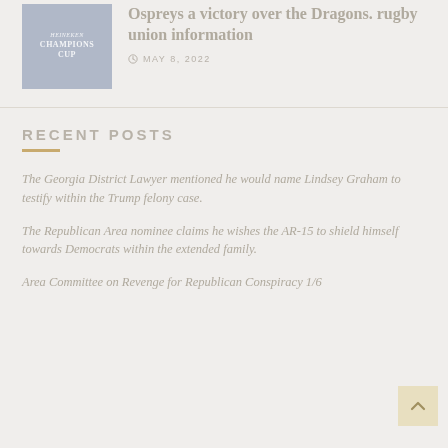[Figure (photo): Thumbnail image showing Heineken Champions Cup branding/logo on dark blue background]
Ospreys a victory over the Dragons. rugby union information
MAY 8, 2022
RECENT POSTS
The Georgia District Lawyer mentioned he would name Lindsey Graham to testify within the Trump felony case.
The Republican Area nominee claims he wishes the AR-15 to shield himself towards Democrats within the extended family.
Area Committee on Revenge for Republican Conspiracy 1/6